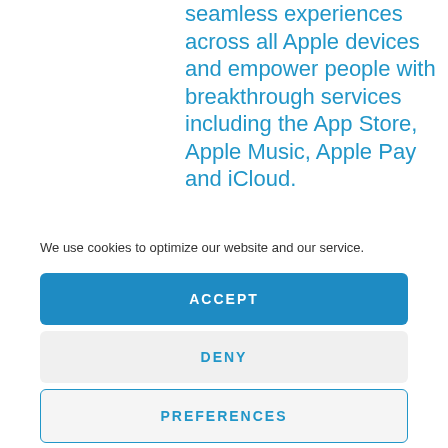seamless experiences across all Apple devices and empower people with breakthrough services including the App Store, Apple Music, Apple Pay and iCloud.
We use cookies to optimize our website and our service.
ACCEPT
DENY
PREFERENCES
Cookie Policy   Privacy Statement